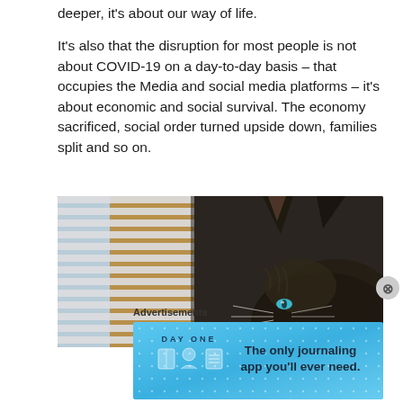deeper, it's about our way of life.

It's also that the disruption for most people is not about COVID-19 on a day-to-day basis – that occupies the Media and social media platforms – it's about economic and social survival. The economy sacrificed, social order turned upside down, families split and so on.
[Figure (photo): A cat peering through window blinds, looking outside. The left half shows window blinds with light coming through; the right half shows a close-up of a dark tabby cat's face with a visible blue-green eye and whiskers.]
Advertisements
[Figure (screenshot): Advertisement banner for 'DAY ONE' journaling app with text 'The only journaling app you'll ever need.' on a blue gradient background with dot pattern and three icons.]